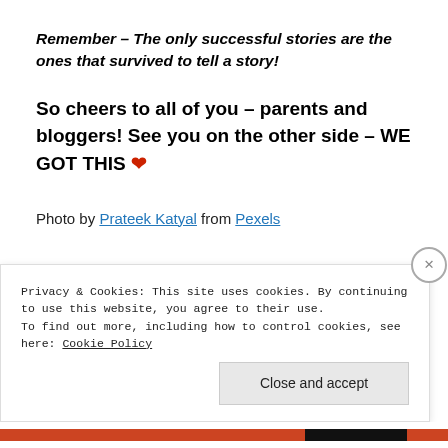Remember – The only successful stories are the ones that survived to tell a story!
So cheers to all of you – parents and bloggers! See you on the other side – WE GOT THIS ❤
Photo by Prateek Katyal from Pexels
Privacy & Cookies: This site uses cookies. By continuing to use this website, you agree to their use.
To find out more, including how to control cookies, see here: Cookie Policy
Close and accept